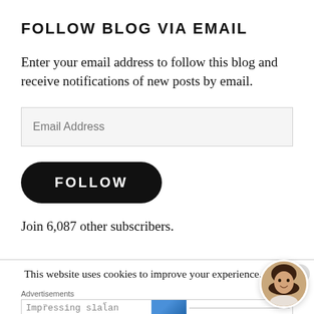FOLLOW BLOG VIA EMAIL
Enter your email address to follow this blog and receive notifications of new posts by email.
Email Address
FOLLOW
Join 6,087 other subscribers.
This website uses cookies to improve your experience.
Advertisements